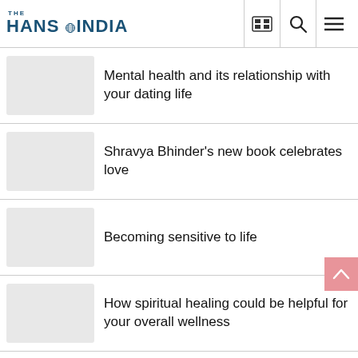THE HANS INDIA
Mental health and its relationship with your dating life
Shravya Bhinder's new book celebrates love
Becoming sensitive to life
How spiritual healing could be helpful for your overall wellness
Bani J on dating these days